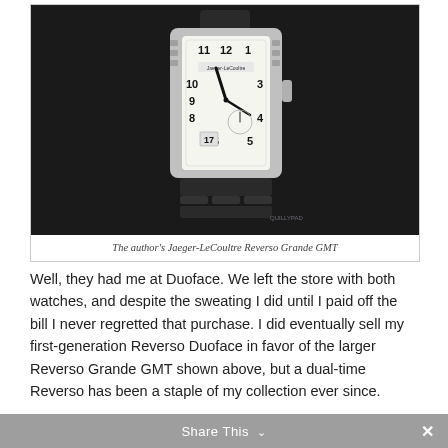[Figure (photo): Photograph of a Jaeger-LeCoultre Reverso Grande GMT watch against a dark background, showing the white dial with Arabic numerals, small seconds, and date display. The watch has a steel case and bracelet.]
The author's Jaeger-LeCoultre Reverso Grande GMT
Well, they had me at Duoface. We left the store with both watches, and despite the sweating I did until I paid off the bill I never regretted that purchase. I did eventually sell my first-generation Reverso Duoface in favor of the larger Reverso Grande GMT shown above, but a dual-time Reverso has been a staple of my collection ever since.
Share This ∨  ✕